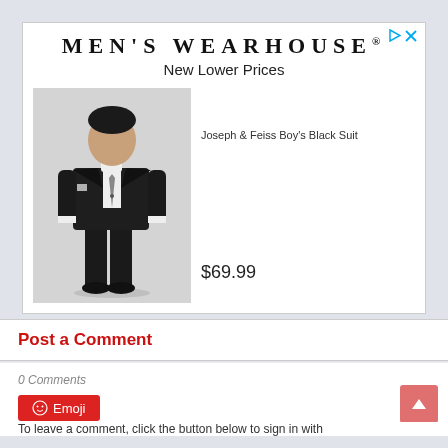[Figure (logo): Men's Wearhouse advertisement with boy's black suit product image]
MEN'S WEARHOUSE®
New Lower Prices
[Figure (photo): Photo of a boy wearing a black suit with white shirt and tie]
Joseph & Feiss Boy's Black Suit
$69.99
Post a Comment
0 Comments
Emoji
To leave a comment, click the button below to sign in with